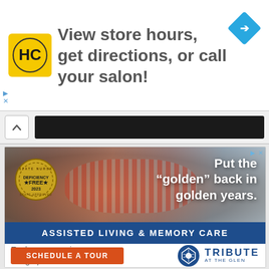[Figure (infographic): Top advertisement banner with HC logo (yellow square with black HC letters), text 'View store hours, get directions, or call your salon!', and a blue diamond navigation arrow icon on the right. Ad controls (play and X) on the left.]
[Figure (infographic): Navigation separator bar with an upward chevron button on the left and a dark black bar on the right.]
[Figure (infographic): Advertisement for Tribute at The Glen assisted living. Shows an elderly woman in red striped shirt holding a small dog. Text overlay: 'Put the "golden" back in golden years.' Gold deficiency-free badge on lower left. Blue banner: 'ASSISTED LIVING & MEMORY CARE'. White section below with text 'Explore our senior living options.' and Tribute at the Glen logo. Orange 'SCHEDULE A TOUR' button.]